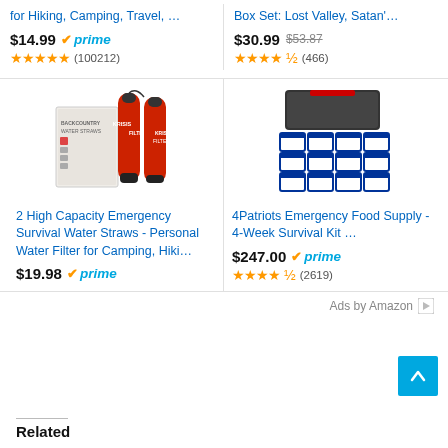for Hiking, Camping, Travel, …
Box Set: Lost Valley, Satan'…
$14.99 prime
$30.99 $53.87
★★★★★ (100212)
★★★★½ (466)
[Figure (photo): Product image of 2 High Capacity Emergency Survival Water Straws with box packaging and two red filter straw units]
[Figure (photo): Product image of 4Patriots Emergency Food Supply 4-Week Survival Kit showing dark storage bin with multiple food packages]
2 High Capacity Emergency Survival Water Straws - Personal Water Filter for Camping, Hiki…
4Patriots Emergency Food Supply - 4-Week Survival Kit …
$19.98 prime
$247.00 prime
★★★★½ (2619)
Ads by Amazon
Related